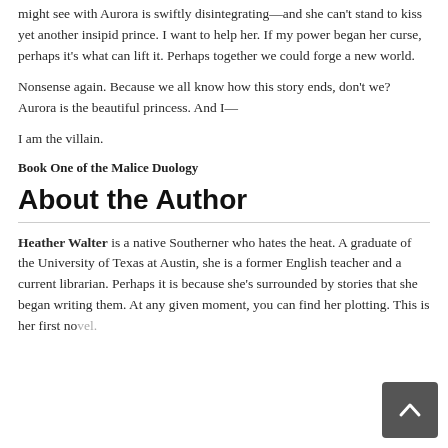might see with Aurora is swiftly disintegrating—and she can't stand to kiss yet another insipid prince. I want to help her. If my power began her curse, perhaps it's what can lift it. Perhaps together we could forge a new world.
Nonsense again. Because we all know how this story ends, don't we? Aurora is the beautiful princess. And I—
I am the villain.
Book One of the Malice Duology
About the Author
Heather Walter is a native Southerner who hates the heat. A graduate of the University of Texas at Austin, she is a former English teacher and a current librarian. Perhaps it is because she's surrounded by stories that she began writing them. At any given moment, you can find her plotting. This is her first novel.